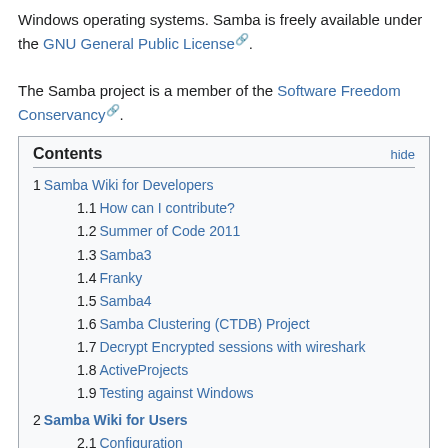Windows operating systems. Samba is freely available under the GNU General Public License. The Samba project is a member of the Software Freedom Conservancy.
| Contents | hide |
| --- | --- |
| 1 Samba Wiki for Developers |  |
| 1.1 How can I contribute? |  |
| 1.2 Summer of Code 2011 |  |
| 1.3 Samba3 |  |
| 1.4 Franky |  |
| 1.5 Samba4 |  |
| 1.6 Samba Clustering (CTDB) Project |  |
| 1.7 Decrypt Encrypted sessions with wireshark |  |
| 1.8 ActiveProjects |  |
| 1.9 Testing against Windows |  |
| 2 Samba Wiki for Users |  |
| 2.1 Configuration |  |
| 2.2 Documentation |  |